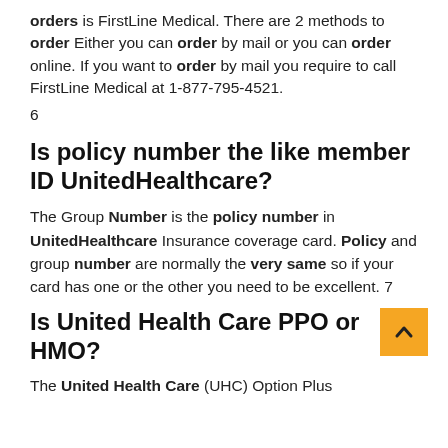orders is FirstLine Medical. There are 2 methods to order Either you can order by mail or you can order online. If you want to order by mail you require to call FirstLine Medical at 1-877-795-4521.
6
Is policy number the like member ID UnitedHealthcare?
The Group Number is the policy number in UnitedHealthcare Insurance coverage card. Policy and group number are normally the very same so if your card has one or the other you need to be excellent. 7
Is United Health Care PPO or HMO?
The United Health Care (UHC) Option Plus